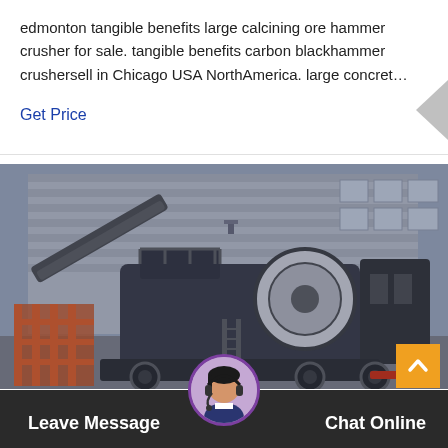edmonton tangible benefits large calcining ore hammer crusher for sale. tangible benefits carbon blackhammer crushersell in Chicago USA NorthAmerica. large concret…
Get Price
[Figure (photo): A large mobile jaw crusher / portable crushing plant machine on wheeled chassis, parked in front of an industrial building with grey corrugated metal cladding. The machine is dark grey/black with white accents. Orange construction equipment is visible in the background.]
Leave Message
Chat Online